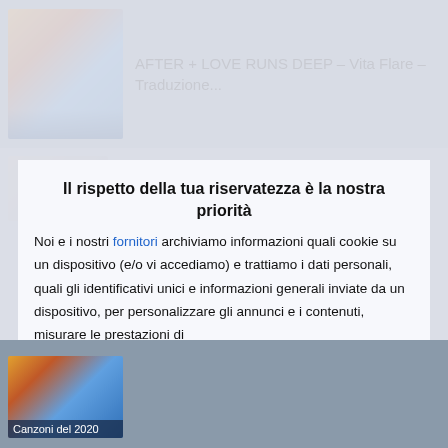[Figure (screenshot): Background website content showing article thumbnails and blurred page behind a cookie consent modal]
Il rispetto della tua riservatezza è la nostra priorità
Noi e i nostri fornitori archiviamo informazioni quali cookie su un dispositivo (e/o vi accediamo) e trattiamo i dati personali, quali gli identificativi unici e informazioni generali inviate da un dispositivo, per personalizzare gli annunci e i contenuti, misurare le prestazioni di annunci e contenuti, ricavare informazioni sul pubblico e anche per
ACCETTO
PIÙ OPZIONI
Canzoni del 2020